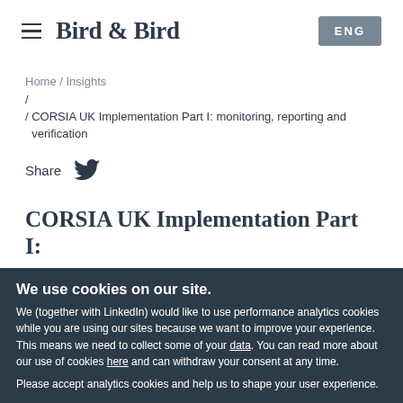Bird & Bird | ENG
Home / Insights
/ CORSIA UK Implementation Part I: monitoring, reporting and verification
Share
CORSIA UK Implementation Part I:
We use cookies on our site. We (together with LinkedIn) would like to use performance analytics cookies while you are using our sites because we want to improve your experience. This means we need to collect some of your data. You can read more about our use of cookies here and can withdraw your consent at any time. Please accept analytics cookies and help us to shape your user experience.